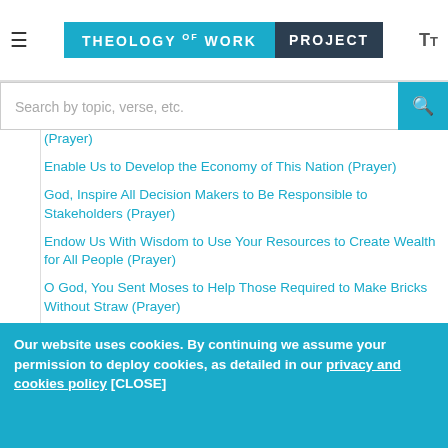Theology of Work Project
Search by topic, verse, etc.
(Prayer)
Enable Us to Develop the Economy of This Nation (Prayer)
God, Inspire All Decision Makers to Be Responsible to Stakeholders (Prayer)
Endow Us With Wisdom to Use Your Resources to Create Wealth for All People (Prayer)
O God, You Sent Moses to Help Those Required to Make Bricks Without Straw (Prayer)
We Give Thanks for the Fellowship of Every Place Where Work Is Shared (Prayer)
We Pray for the Early-Retired, Those Made Redundant or Whose Businesses Have Collapsed (Prayer)
May Our Work Fulfill Our Needs and the Needs of Others (Prayer)
Our website uses cookies. By continuing we assume your permission to deploy cookies, as detailed in our privacy and cookies policy [CLOSE]